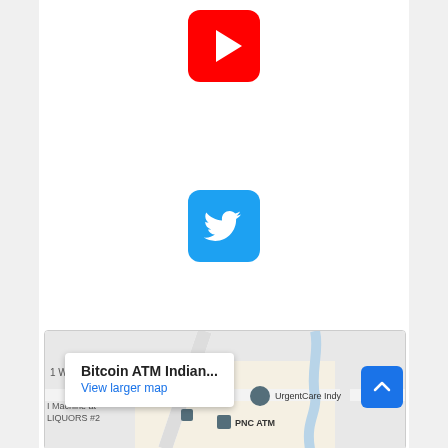[Figure (logo): YouTube logo icon - red rounded square with white play button triangle]
[Figure (logo): Twitter logo icon - blue rounded square with white bird]
[Figure (map): Google Maps screenshot showing Bitcoin ATM Indianapolis area with UrgentCare Indy, PNC ATM, and other locations. Popup shows 'Bitcoin ATM Indian...' with 'View larger map' link. Bottom shows El Pastorcito, Bitcoin ATM Indianapolis - Coinhub with red pin.]
[Figure (screenshot): Scroll to top button - blue square with white up chevron arrow, bottom right corner]